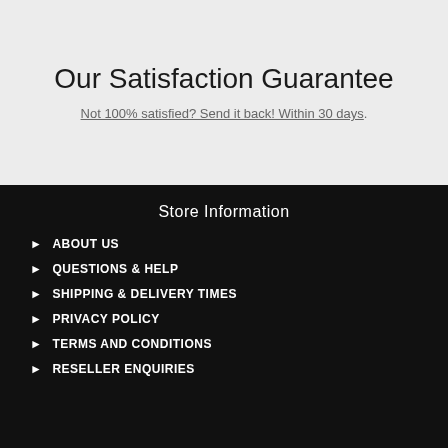Our Satisfaction Guarantee
Not 100% satisfied? Send it back! Within 30 days.
Store Information
ABOUT US
QUESTIONS & HELP
SHIPPING & DELIVERY TIMES
PRIVACY POLICY
TERMS AND CONDITIONS
RESELLER ENQUIRIES